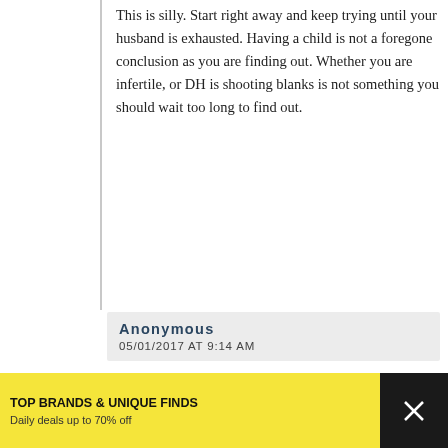This is silly. Start right away and keep trying until your husband is exhausted. Having a child is not a foregone conclusion as you are finding out. Whether you are infertile, or DH is shooting blanks is not something you should wait too long to find out.
Anonymous
05/01/2017 AT 9:14 AM
whut? no
Anonymous
05/01/2017 AT 9:20 AM
No – not because it would be great to have babies close together (which might be true), but becauae it is totally irrational to plan your family around your BFF's potential irrational response
[Figure (other): Advertisement banner: TOP BRANDS & UNIQUE FINDS, Daily deals up to 70% off, zulily logo with product images]